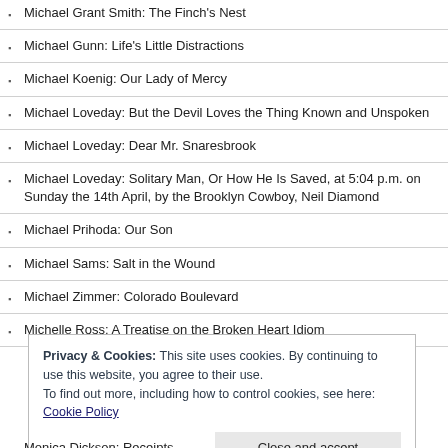Michael Grant Smith: The Finch's Nest
Michael Gunn: Life's Little Distractions
Michael Koenig: Our Lady of Mercy
Michael Loveday: But the Devil Loves the Thing Known and Unspoken
Michael Loveday: Dear Mr. Snaresbrook
Michael Loveday: Solitary Man, Or How He Is Saved, at 5:04 p.m. on Sunday the 14th April, by the Brooklyn Cowboy, Neil Diamond
Michael Prihoda: Our Son
Michael Sams: Salt in the Wound
Michael Zimmer: Colorado Boulevard
Michelle Ross: A Treatise on the Broken Heart Idiom
Privacy & Cookies: This site uses cookies. By continuing to use this website, you agree to their use. To find out more, including how to control cookies, see here: Cookie Policy
Monica Dickson: Receipts